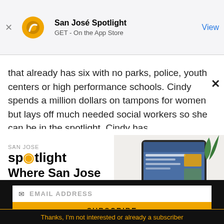[Figure (screenshot): App Store banner for San José Spotlight app with yellow circular logo, title 'San José Spotlight', subtitle 'GET - On the App Store', and 'View' link button]
that already has six with no parks, police, youth centers or high performance schools. Cindy spends a million dollars on tampons for women but lays off much needed social workers so she can be in the spotlight. Cindy has
[Figure (screenshot): San José Spotlight advertisement with logo, headline 'Where San Jose locals start the day.' and URL sanjosespotlight.com, with tablet/coffee image on right]
EMAIL ADDRESS
SUBSCRIBE
Thanks, I'm not interested or already a subscriber